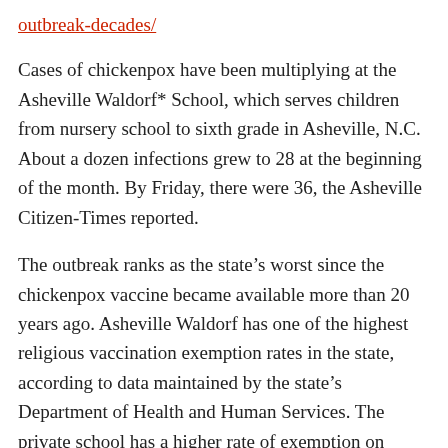outbreak-decades/
Cases of chickenpox have been multiplying at the Asheville Waldorf* School, which serves children from nursery school to sixth grade in Asheville, N.C. About a dozen infections grew to 28 at the beginning of the month. By Friday, there were 36, the Asheville Citizen-Times reported.
The outbreak ranks as the state’s worst since the chickenpox vaccine became available more than 20 years ago. Asheville Waldorf has one of the highest religious vaccination exemption rates in the state, according to data maintained by the state’s Department of Health and Human Services. The private school has a higher rate of exemption on religious grounds than all but two other North Carolina schools, the Citizen-Times reported. During the 2017-18 school year, 19 of 28 kindergartners were